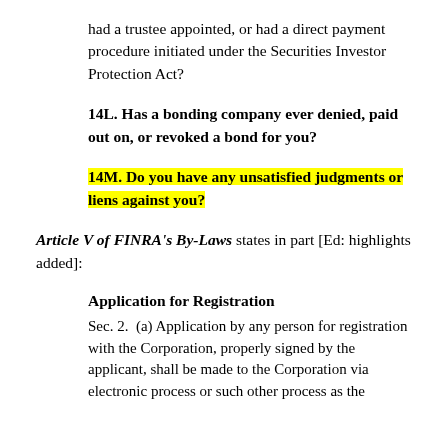had a trustee appointed, or had a direct payment procedure initiated under the Securities Investor Protection Act?
14L. Has a bonding company ever denied, paid out on, or revoked a bond for you?
14M. Do you have any unsatisfied judgments or liens against you?
Article V of FINRA's By-Laws states in part [Ed: highlights added]:
Application for Registration
Sec. 2.  (a) Application by any person for registration with the Corporation, properly signed by the applicant, shall be made to the Corporation via electronic process or such other process as the